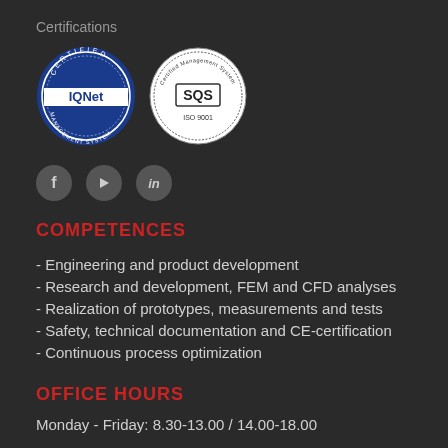Certifications
[Figure (logo): IQNet Certified Management System circular badge, blue color]
[Figure (logo): SQS Certified Management System ISO 9001 circular badge, white/black]
[Figure (infographic): Social media icons: Facebook (f), YouTube (play button), LinkedIn (in)]
COMPETENCES
- Engineering and product development
- Research and development, FEM and CFD analyses
- Realization of prototypes, measurements and tests
- Safety, technical documentation and CE-certification
- Continuous process optimization
OFFICE HOURS
Monday - Friday: 8.30-13.00 / 14.00-18.00